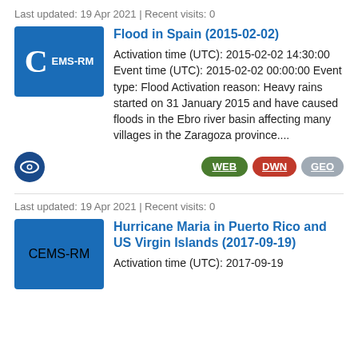Last updated: 19 Apr 2021 | Recent visits: 0
[Figure (logo): EMS-RM blue badge with C letter]
Flood in Spain (2015-02-02)
Activation time (UTC): 2015-02-02 14:30:00 Event time (UTC): 2015-02-02 00:00:00 Event type: Flood Activation reason: Heavy rains started on 31 January 2015 and have caused floods in the Ebro river basin affecting many villages in the Zaragoza province....
[Figure (logo): Eye icon circle and WEB/DWN/GEO buttons]
Last updated: 19 Apr 2021 | Recent visits: 0
[Figure (logo): EMS-RM blue badge with C letter]
Hurricane Maria in Puerto Rico and US Virgin Islands (2017-09-19)
Activation time (UTC): 2017-09-19